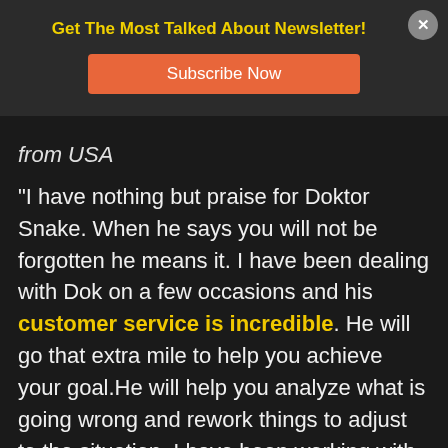Get The Most Talked About Newsletter!
Subscribe Now
from USA
“I have nothing but praise for Doktor Snake. When he says you will not be forgotten he means it. I have been dealing with Dok on a few occasions and his customer service is incredible. He will go that extra mile to help you achieve your goal.He will help you analyze what is going wrong and rework things to adjust to the situation. I have been working with Doktor Snake on a very tough situation that I am revisiting, and he takes as a personal